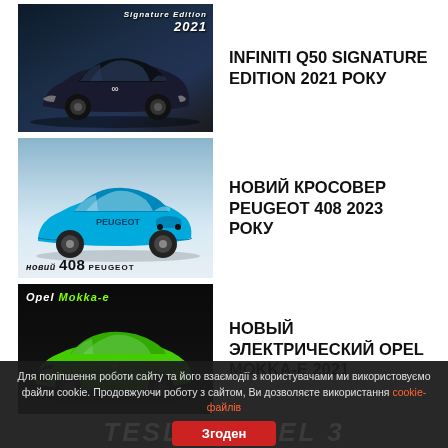[Figure (photo): Infiniti Q50 Signature Edition 2021 dark blue sedan with Signature Edition 2021 text overlay]
INFINITI Q50 SIGNATURE EDITION 2021 РОКУ
[Figure (photo): New Peugeot 408 2023 crossover in blue color on a light background with 'новий 408 PEUGEOT' badge]
НОВИЙ КРОСОВЕР PEUGEOT 408 2023 РОКУ
[Figure (photo): Opel Mokka-E 2021 electric crossover in green with Opel Mokka-E logo on dark background]
НОВЫЙ ЭЛЕКТРИЧЕСКИЙ OPEL MOKKA-E 2021
Для поліпшення роботи сайту та його взаємодії з користувачами ми використовуємо файли cookie. Продовжуючи роботу з сайтом, Ви дозволяєте використання cookie-файлів
Згоден